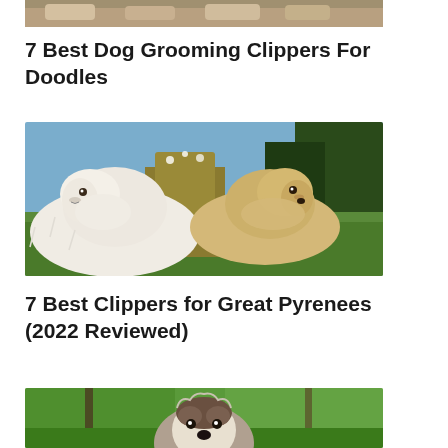[Figure (photo): Top portion of a photo showing multiple dogs on a wooden floor, cropped at the top]
7 Best Dog Grooming Clippers For Doodles
[Figure (photo): Two large fluffy dogs, one white Great Pyrenees and one golden-colored dog, sitting in a field with tall grass and flowers, with trees and green fields in the background]
7 Best Clippers for Great Pyrenees (2022 Reviewed)
[Figure (photo): A small fluffy dog with black and white fur looking up at the camera, standing on green grass under trees]